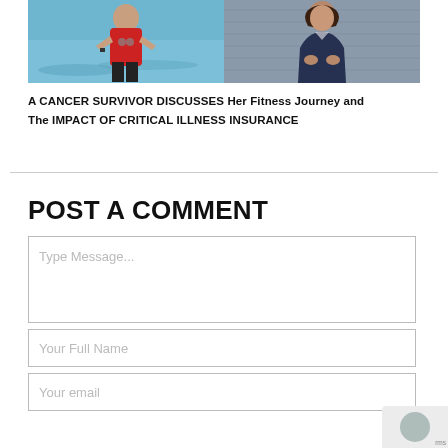[Figure (photo): Two-photo strip: left shows a woman in a red athletic top posing with hands on hips against a blue water background; right shows a woman in a dark blazer with arms crossed against a grey textured background.]
A CANCER SURVIVOR DISCUSSES Her Fitness Journey and The IMPACT OF CRITICAL ILLNESS INSURANCE
POST A COMMENT
Type Message...
Your Full Name
Your email